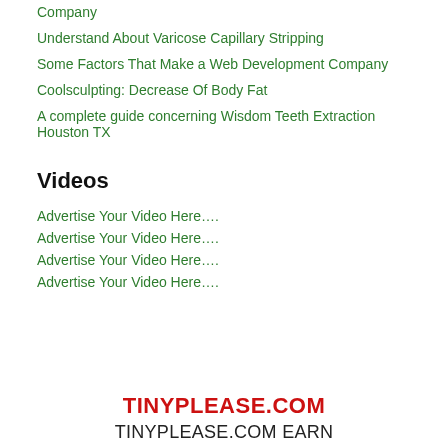Company
Understand About Varicose Capillary Stripping
Some Factors That Make a Web Development Company
Coolsculpting: Decrease Of Body Fat
A complete guide concerning Wisdom Teeth Extraction Houston TX
Videos
Advertise Your Video Here….
Advertise Your Video Here….
Advertise Your Video Here….
Advertise Your Video Here….
TINYPLEASE.COM
TINYPLEASE.COM EARN